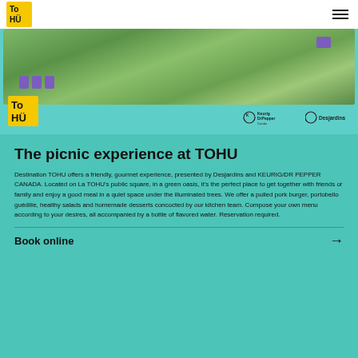TOHU navigation header
[Figure (photo): Outdoor picnic scene with purple Adirondack chairs on green grass, people sitting, with teal wave overlay and sponsor logos (Keurig Dr Pepper Canada and Desjardins)]
The picnic experience at TOHU
Destination TOHU offers a friendly, gourmet experience, presented by Desjardins and KEURIG/DR PEPPER CANADA. Located on La TOHU's public square, in a green oasis, it's the perfect place to get together with friends or family and enjoy a good meal in a quiet space under the illuminated trees. We offer a pulled pork burger, portobello guédille, healthy salads and homemade desserts concocted by our kitchen team. Compose your own menu according to your desires, all accompanied by a bottle of flavored water. Reservation required.
Book online →